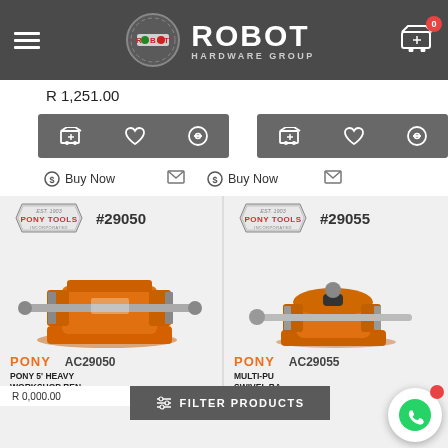ROBOT HARDWARE GROUP
R 1,251.00
[Figure (screenshot): Two product cards for Pony Tools bench vises: #29050 (AC29050) and #29055 (AC29055), with orange workshop vise images, Pony Tools logos, brand names, product codes, and descriptions including 'PONY 5 HEAVY WORKSHOP BENCH SWIVEL BASE' and 'MULTI-PURPOSE SWIVEL BASE']